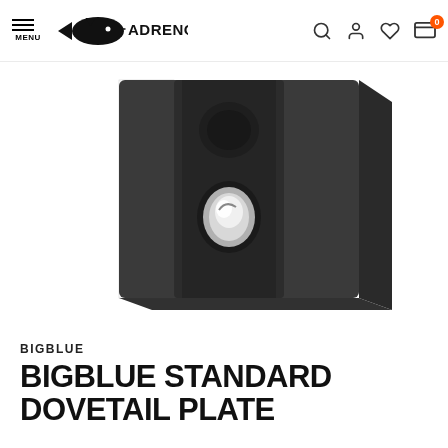MENU | ADRENO (logo) | search, account, wishlist, cart (0)
[Figure (photo): A dark matte black rectangular block/plate (Bigblue Standard Dovetail Plate) photographed against a white background. The block has a recessed channel running vertically and a circular/oval hole in the center revealing a silver metallic interior.]
BIGBLUE
BIGBLUE STANDARD DOVETAIL PLATE